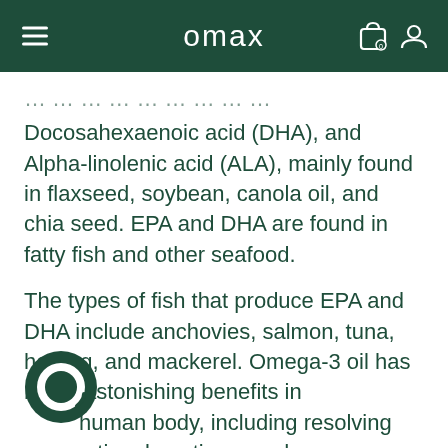omax
Docosahexaenoic acid (DHA), and Alpha-linolenic acid (ALA), mainly found in flaxseed, soybean, canola oil, and chia seed. EPA and DHA are found in fatty fish and other seafood.
The types of fish that produce EPA and DHA include anchovies, salmon, tuna, herring, and mackerel. Omega-3 oil has many astonishing benefits in human body, including resolving inflammation, boosting mood, supporting heart health, supporting